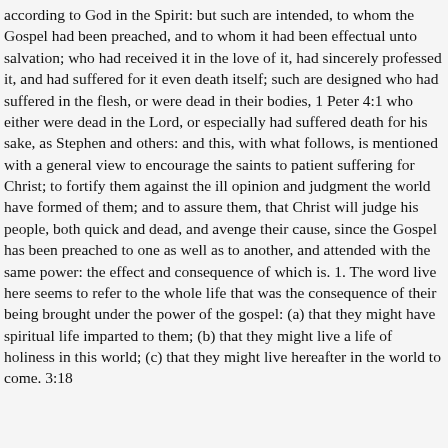according to God in the Spirit: but such are intended, to whom the Gospel had been preached, and to whom it had been effectual unto salvation; who had received it in the love of it, had sincerely professed it, and had suffered for it even death itself; such are designed who had suffered in the flesh, or were dead in their bodies, 1 Peter 4:1 who either were dead in the Lord, or especially had suffered death for his sake, as Stephen and others: and this, with what follows, is mentioned with a general view to encourage the saints to patient suffering for Christ; to fortify them against the ill opinion and judgment the world have formed of them; and to assure them, that Christ will judge his people, both quick and dead, and avenge their cause, since the Gospel has been preached to one as well as to another, and attended with the same power: the effect and consequence of which is. 1. The word live here seems to refer to the whole life that was the consequence of their being brought under the power of the gospel: (a) that they might have spiritual life imparted to them; (b) that they might live a life of holiness in this world; (c) that they might live hereafter in the world to come. 3:18